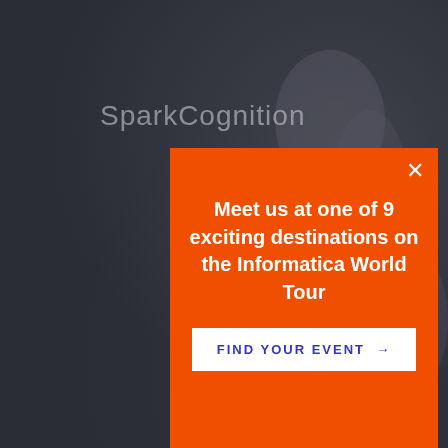[Figure (screenshot): Dark background webpage with photo overlay showing people, with SparkCognition text visible in upper left area]
SparkCognition
[Figure (infographic): Orange modal popup with white X close button, containing promotional text and a Find Your Event button]
Meet us at one of 9 exciting destinations on the Informatica World Tour
FIND YOUR EVENT →